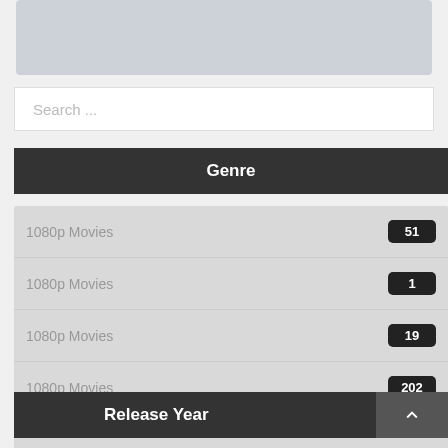[Figure (other): Gray placeholder banner image at the top of the page]
Search ...
Genre
1080p Movies 51
1080p Movies 1
1080p Movies 19
1080p Movies 202
Release Year